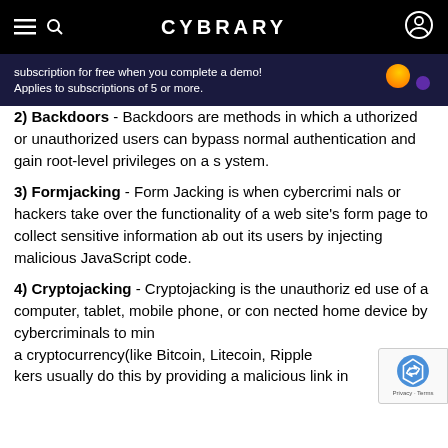CYBRARY
subscription for free when you complete a demo! Applies to subscriptions of 5 or more.
2) Backdoors - Backdoors are methods in which authorized or unauthorized users can bypass normal authentication and gain root-level privileges on a system.
3) Formjacking - Form Jacking is when cybercriminals or hackers take over the functionality of a website's form page to collect sensitive information about its users by injecting malicious JavaScript code.
4) Cryptojacking - Cryptojacking is the unauthorized use of a computer, tablet, mobile phone, or connected home device by cybercriminals to mine a cryptocurrency(like Bitcoin, Litecoin, Ripple). Hackers usually do this by providing a malicious link in